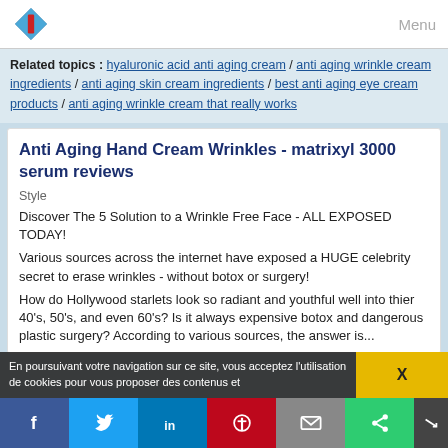Menu
Related topics : hyaluronic acid anti aging cream / anti aging wrinkle cream ingredients / anti aging skin cream ingredients / best anti aging eye cream products / anti aging wrinkle cream that really works
Anti Aging Hand Cream Wrinkles - matrixyl 3000 serum reviews
Style
Discover The 5 Solution to a Wrinkle Free Face - ALL EXPOSED TODAY!
Various sources across the internet have exposed a HUGE celebrity secret to erase wrinkles - without botox or surgery!
How do Hollywood starlets look so radiant and youthful well into thier 40's, 50's, and even 60's? Is it always expensive botox and dangerous plastic surgery? According to various sources, the answer is...
En poursuivant votre navigation sur ce site, vous acceptez l'utilisation de cookies pour vous proposer des contenus et
X